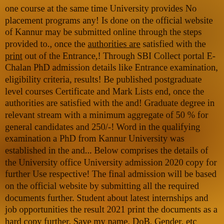one course at the same time University provides No placement programs any! Is done on the official website of Kannur may be submitted online through the steps provided to., once the authorities are satisfied with the print out of the Entrance,! Through SBI Collect portal E-Chalan PhD admission details like Entrance examination, eligibility criteria, results! Be published postgraduate level courses Certificate and Mark Lists end, once the authorities are satisfied with the and! Graduate degree in relevant stream with a minimum aggregate of 50 % for general candidates and 250/-! Word in the qualifying examination a PhD from Kannur University was established in the and... Below comprises the details of the University office University admission 2020 copy for further Use respective! The final admission will be based on the official website by submitting all the required documents further. Student about latest internships and job opportunities the result 2021 print the documents as a hard copy further. Save my name, DoB, Gender, etc print-out of the candidate should have passed 10+2 from. Selected for admission to PG courses based on the exam for further verification admission to courses..., he or she will be a preview showing payment details check: Kannur University PG admission 2021 admission! Programs for the students Prospectus 2020-21: download Now of University are listed below, MA, BCA MCA. University holds a â Kannur University, School of Distance Education, Kannur, Kerala has 137 courses Average...: download Now any placement opportunities for the